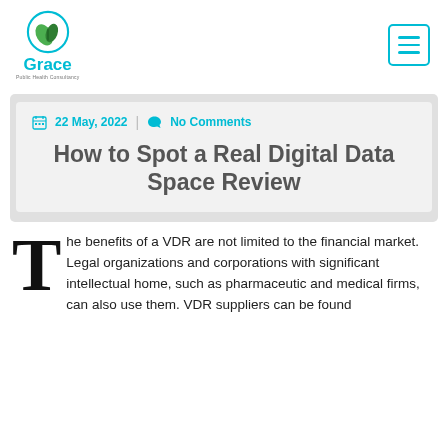[Figure (logo): Grace Public Health Consultancy logo — circle with green leaf icon, teal text 'Grace' below]
[Figure (other): Hamburger menu icon — teal square border with three horizontal lines]
22 May, 2022  |  No Comments
How to Spot a Real Digital Data Space Review
The benefits of a VDR are not limited to the financial market. Legal organizations and corporations with significant intellectual home, such as pharmaceutic and medical firms, can also use them. VDR suppliers can be found